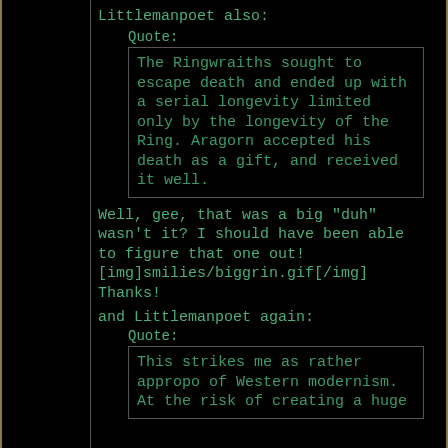Littlemanpoet also:
Quote:
The Ringwraiths sought to escape death and ended up with a serial longevity limited only by the longevity of the Ring. Aragorn accepted his death as a gift, and received it well.
Well, gee, that was a big "duh" wasn't it? I should have been able to figure that one out!
[img]smilies/biggrin.gif[/img]
Thanks!
and Littlemanpoet again:
Quote:
This strikes me as rather appropo of Western modernism. At the risk of creating a huge